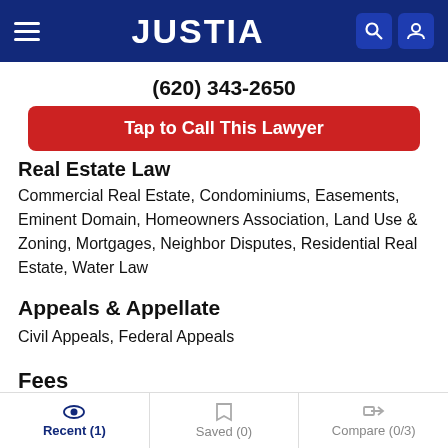JUSTIA
(620) 343-2650
Tap to Call This Lawyer
Real Estate Law
Commercial Real Estate, Condominiums, Easements, Eminent Domain, Homeowners Association, Land Use & Zoning, Mortgages, Neighbor Disputes, Residential Real Estate, Water Law
Appeals & Appellate
Civil Appeals, Federal Appeals
Fees
Recent (1)  Saved (0)  Compare (0/3)